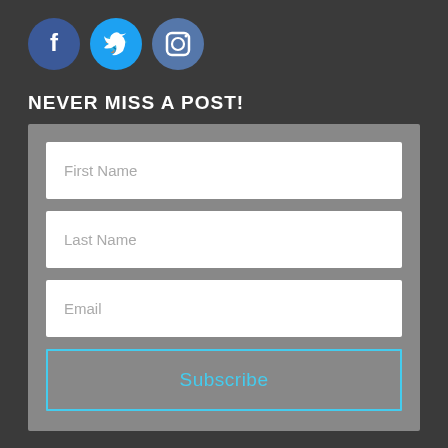[Figure (illustration): Three social media icons: Facebook (dark blue circle with f), Twitter (light blue circle with bird), Instagram (blue-grey circle with camera)]
NEVER MISS A POST!
[Figure (screenshot): Subscription form with fields for First Name, Last Name, Email, and a Subscribe button with cyan border on grey background]